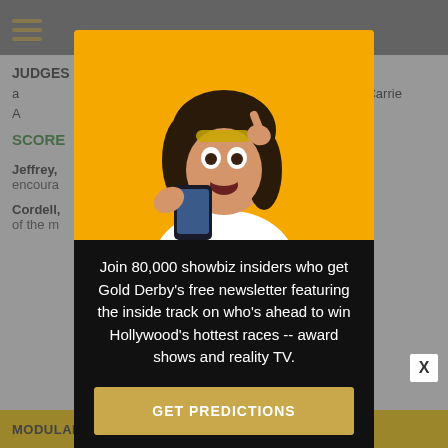JUDGES: performance and she looked a t into it with focus ity. Carrie A ould find something o.
SCORE = 18 out of 3
Jeffrey, of encourage
Cordell, gh two of the m
[Figure (screenshot): Modal popup on a website showing a woman with surprised expression on orange background, with newsletter signup text and GET PREDICTIONS button]
Join 80,000 showbiz insiders who get Gold Derby's free newsletter featuring the inside track on who's ahead to win Hollywood's hottest races -- award shows and reality TV.
GET PREDICTIONS
No thanks
MODULAR, WASHABLE MATTRESS